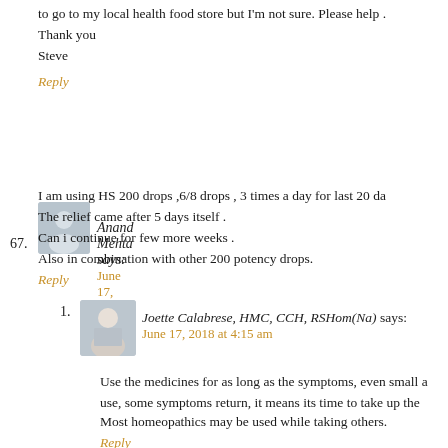to go to my local health food store but I'm not sure. Please help .
Thank you
Steve
Reply
67. Anand Mehta says:
June 17, 2018 at 2:51 am
I am using HS 200 drops ,6/8 drops , 3 times a day for last 20 da
The relief came after 5 days itself .
Can i continue for few more weeks .
Also in combination with other 200 potency drops.
Reply
1. Joette Calabrese, HMC, CCH, RSHom(Na) says:
June 17, 2018 at 4:15 am
Use the medicines for as long as the symptoms, even small a
use, some symptoms return, it means its time to take up the
Most homeopathics may be used while taking others.
Reply